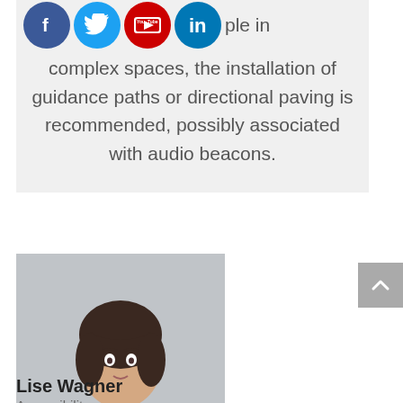[Figure (infographic): Social media icons row (Facebook, Twitter, YouTube, LinkedIn) followed by partial text 'ple in' forming part of a quote block on a grey background]
complex spaces, the installation of guidance paths or directional paving is recommended, possibly associated with audio beacons.
[Figure (photo): Portrait photo of Lise Wagner, a woman with short dark hair wearing a blue top, arms crossed]
Lise Wagner
Accessibility